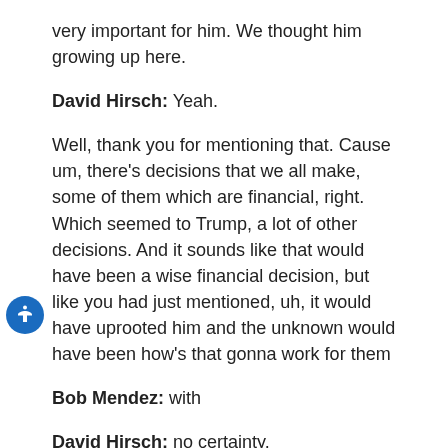very important for him. We thought him growing up here.
David Hirsch: Yeah.
Well, thank you for mentioning that. Cause um, there’s decisions that we all make, some of them which are financial, right. Which seemed to Trump, a lot of other decisions. And it sounds like that would have been a wise financial decision, but like you had just mentioned, uh, it would have uprooted him and the unknown would have been how’s that gonna work for them
Bob Mendez: with
David Hirsch: no certainty.
Bob Mendez: Right.
David Hirsch: So I admire you and Josie for foregoing, the maybe more advantageous financial